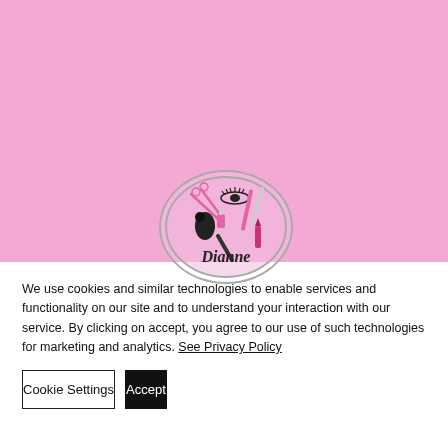[Figure (photo): Pink background with a circular logo for 'Dianne' featuring beauty/makeup tools (scissors, mascara, lipstick, eyelashes, etc.) arranged in a circle with a script font name in the center.]
We use cookies and similar technologies to enable services and functionality on our site and to understand your interaction with our service. By clicking on accept, you agree to our use of such technologies for marketing and analytics. See Privacy Policy
Cookie Settings
Accept